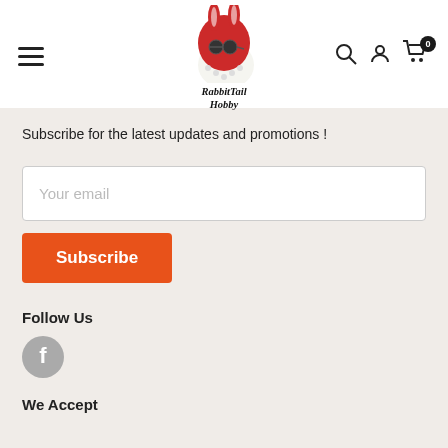[Figure (logo): RabbitTail Hobby logo with a red rabbit character wearing glasses and a white pokeball-like body]
Subscribe for the latest updates and promotions !
Your email
Subscribe
Follow Us
[Figure (logo): Facebook icon circle]
We Accept